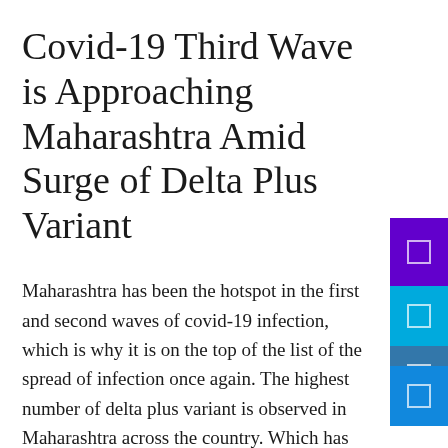Covid-19 Third Wave is Approaching Maharashtra Amid Surge of Delta Plus Variant
Maharashtra has been the hotspot in the first and second waves of covid-19 infection, which is why it is on the top of the list of the spread of infection once again. The highest number of delta plus variant is observed in Maharashtra across the country. Which has now covered almost 12 other states of the country. As of now the total number of delta plus cases has reached up to 56, so is this an indication of a new curse in the form of covid-19 third wave. Read more: